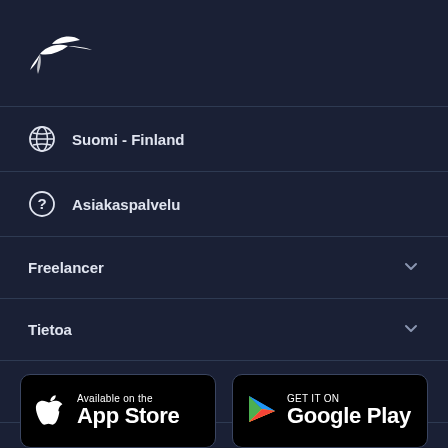[Figure (logo): Freelancer bird logo in white]
Suomi - Finland
Asiakaspalvelu
Freelancer
Tietoa
Ehdot
[Figure (logo): Available on the App Store badge]
[Figure (logo): GET IT ON Google Play badge]